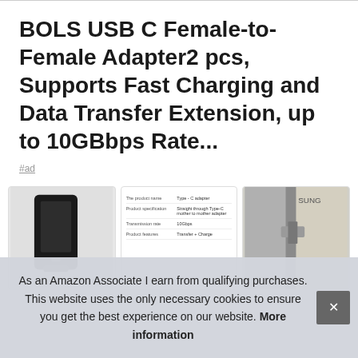BOLS USB C Female-to-Female Adapter2 pcs, Supports Fast Charging and Data Transfer Extension, up to 10GBbps Rate...
#ad
[Figure (photo): Three product images: left shows a dark USB-C device/phone, middle shows a product specification table with fields like product name (Type-C adapter), product specification (Straight through Type-C mother to mother adapter), Transmission rate (10Gbps), Product features (Transfer + Charge), right shows a USB-C cable plugged into a device.]
As an Amazon Associate I earn from qualifying purchases. This website uses the only necessary cookies to ensure you get the best experience on our website. More information